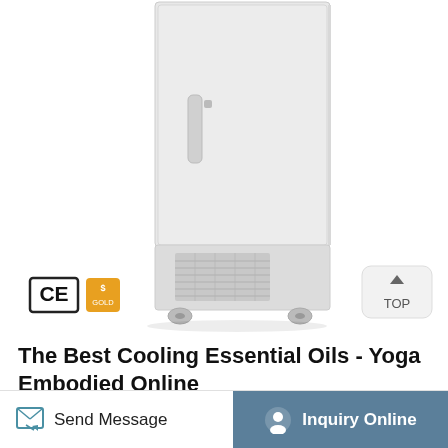[Figure (photo): Ultra-low temperature laboratory freezer/refrigerator unit, light gray/white color, tall upright cabinet with handle on door, ventilation grille at bottom front, mounted on caster wheels. CE certification mark and gold supplier badge visible in lower left. TOP navigation button in lower right.]
The Best Cooling Essential Oils - Yoga Embodied Online
Send Message
Inquiry Online